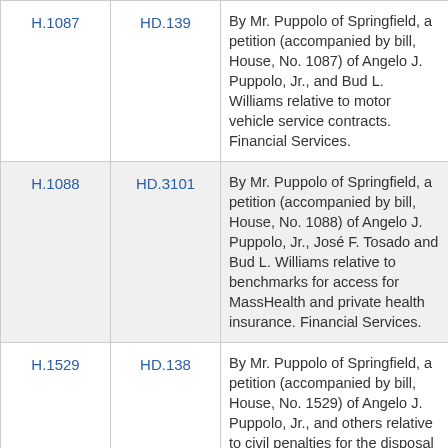| H.1087 | HD.139 | By Mr. Puppolo of Springfield, a petition (accompanied by bill, House, No. 1087) of Angelo J. Puppolo, Jr., and Bud L. Williams relative to motor vehicle service contracts. Financial Services. |
| H.1088 | HD.3101 | By Mr. Puppolo of Springfield, a petition (accompanied by bill, House, No. 1088) of Angelo J. Puppolo, Jr., José F. Tosado and Bud L. Williams relative to benchmarks for access for MassHealth and private health insurance. Financial Services. |
| H.1529 | HD.138 | By Mr. Puppolo of Springfield, a petition (accompanied by bill, House, No. 1529) of Angelo J. Puppolo, Jr., and others relative to civil penalties for the disposal of trash or garbage from motor vehicles. The Judiciary. |